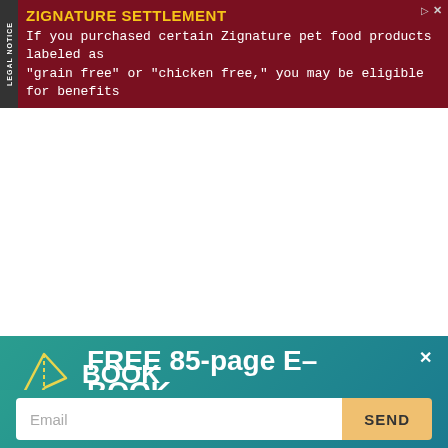[Figure (infographic): Legal notice ad banner with dark red background. Title 'ZIGNATURE SETTLEMENT' in yellow bold text. Body text in white monospace: 'If you purchased certain Zignature pet food products labeled as "grain free" or "chicken free," you may be eligible for benefits'. Side label reads 'LEGAL NOTICE' vertically.]
[Figure (logo): Partial circular teal/green logo with text 'E HEALT' visible, suggesting a health-related website logo.]
ARCHIVES
July 2022
June 2022
[Figure (infographic): Teal gradient promotional banner with yellow paper airplane icon and white bold text 'FREE 85-page E-BOOK' followed by subtitle 'Guide to Transitioning to Healthy Whole Food Diet'. Has a close X button.]
Email
SEND